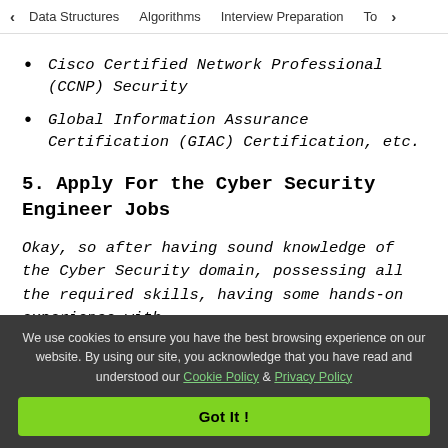< Data Structures   Algorithms   Interview Preparation   To>
Cisco Certified Network Professional (CCNP) Security
Global Information Assurance Certification (GIAC) Certification, etc.
5. Apply For the Cyber Security Engineer Jobs
Okay, so after having sound knowledge of the Cyber Security domain, possessing all the required skills, having some hands-on experience with
We use cookies to ensure you have the best browsing experience on our website. By using our site, you acknowledge that you have read and understood our Cookie Policy & Privacy Policy
Got It !